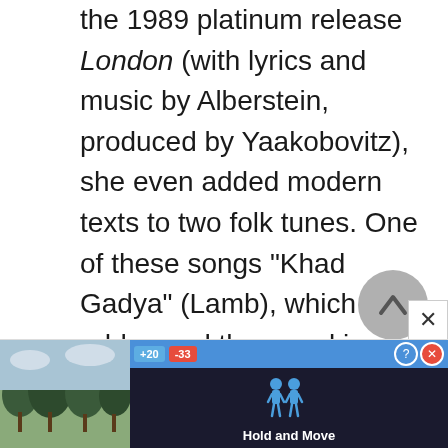the 1989 platinum release London (with lyrics and music by Alberstein, produced by Yaakobovitz), she even added modern texts to two folk tunes. One of these songs "Khad Gadya" (Lamb), which addressed the moral issues of Israel's occupation of the Palestinian territories, created a national mini-scandal.

In some ways this reflected the end of an era: On a national level, Alberstein had...
[Figure (screenshot): Advertisement overlay at the bottom of the page showing a mobile game 'Hold and Move' with score indicators (+20, -33), help and close icons, and a dark background with player figure icons. A circular back/up navigation button appears above the ad.]